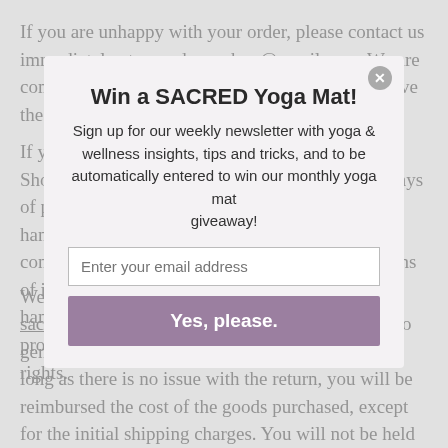If you are unhappy with your order, please contact us immediately at sacredyogashop@gmail.com. We are committed to doing whatever we can to help resolve the situation to your satisfaction!
If you would like to return an item to Sacred Yoga Shop, we will accept returns of goods within 30 days of purchase, provided they have been carefully handled or used and is returned in a saleable condition with all original packaging intact. Returns of items with damaged packaging will incur a handling charge to be designated by us on a per product basis. This does not affect your statutory rights.
[Figure (screenshot): Modal popup overlay with title 'Win a SACRED Yoga Mat!', subtitle text about weekly newsletter, email input field, and 'Yes, please.' button in dusty purple.]
We ask that you contact us at sacredyogashop@gmail.com and we will be able to generate a return label and RMA with tracking. As long as there is no issue with the return, you will be reimbursed the cost of the goods purchased, except for the initial shipping charges. You will not be held